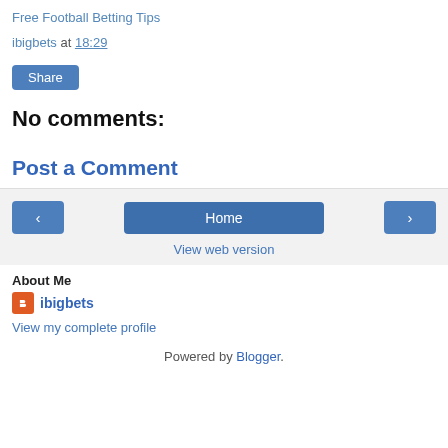Free Football Betting Tips
ibigbets at 18:29
Share
No comments:
Post a Comment
Home
View web version
About Me
ibigbets
View my complete profile
Powered by Blogger.